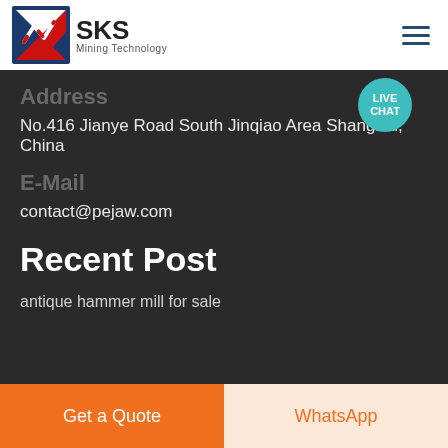SKS Mining Technology
Address
No.416 Jianye Road South Jinqiao Area Shanghai, China
E-Mail
contact@pejaw.com
Recent Post
antique hammer mill for sale
Get a Quote
WhatsApp